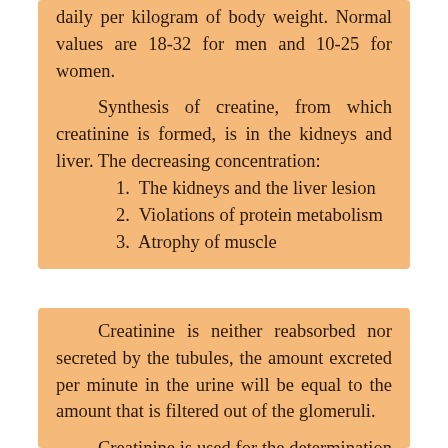daily per kilogram of body weight. Normal values are 18-32 for men and 10-25 for women.
Synthesis of creatine, from which creatinine is formed, is in the kidneys and liver. The decreasing concentration:
1. The kidneys and the liver lesion
2. Violations of protein metabolism
3. Atrophy of muscle
Creatinine is neither reabsorbed nor secreted by the tubules, the amount excreted per minute in the urine will be equal to the amount that is filtered out of the glomeruli.
Creatinine is used for the determination of renal plasma clearance.